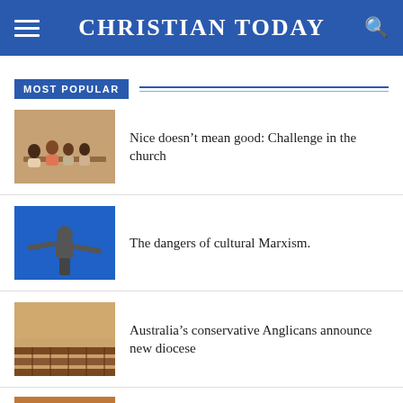CHRISTIAN TODAY
MOST POPULAR
Nice doesn’t mean good: Challenge in the church
The dangers of cultural Marxism.
Australia’s conservative Anglicans announce new diocese
Flourishing in a Dry and Weary Land